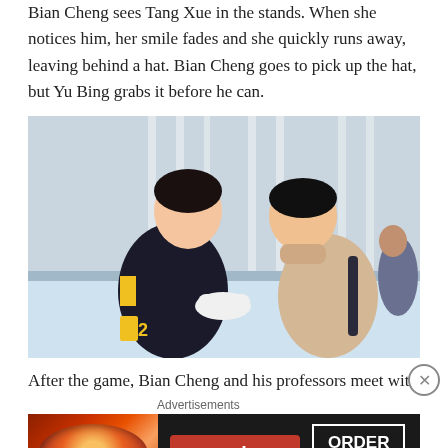Bian Cheng sees Tang Xue in the stands. When she notices him, her smile fades and she quickly runs away, leaving behind a hat. Bian Cheng goes to pick up the hat, but Yu Bing grabs it before he can.
[Figure (photo): Two young men at an ice rink. The one on the left wears a black and yellow hockey jersey and holds a white hat. The one on the right wears a beige/cream turtleneck sweater and appears to be reaching for the hat.]
After the game, Bian Cheng and his professors meet with
Advertisements
[Figure (photo): Seamless food delivery advertisement showing pizza on the left, the Seamless logo in red in the center, and an ORDER NOW button on the right, all on a dark background.]